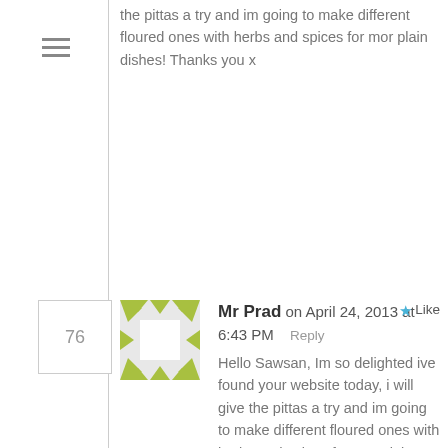the pittas a try and im going to make different floured ones with herbs and spices for mor plain dishes! Thanks you x
Mr Prad on April 24, 2013 at 6:43 PM  Reply  Like
Hello Sawsan, Im so delighted ive found your website today, i will give the pittas a try and im going to make different floured ones with herbs and spices for mor plain dishes! Thanks you x
Ashley Hunt on April 25, 2013 at 9:36 PM  Reply  Like
These turned out AMAZING! Thank